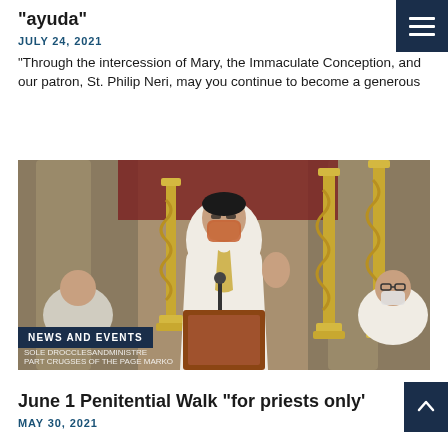“ayuda”
JULY 24, 2021
“Through the intercession of Mary, the Immaculate Conception, and our patron, St. Philip Neri, may you continue to become a generous
[Figure (photo): A priest wearing a mask and white vestments with gold embroidery stands at a lectern/pulpit with a raised hand. Gold candlesticks are visible in the background. Another masked priest is seated to the right.]
NEWS AND EVENTS
June 1 Penitential Walk “for priests only”
MAY 30, 2021